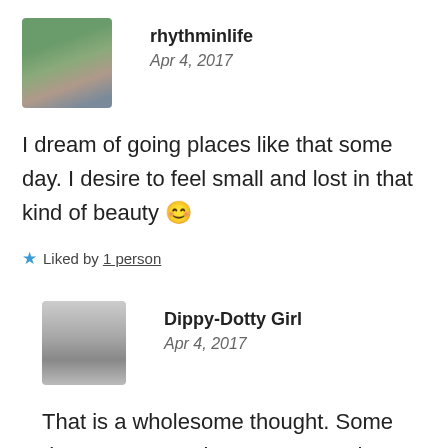[Figure (photo): Avatar photo of rhythminlife — a couple standing outdoors among trees]
rhythminlife
Apr 4, 2017
I dream of going places like that some day. I desire to feel small and lost in that kind of beauty 😊
★ Liked by 1 person
[Figure (photo): Avatar photo of Dippy-Dotty Girl — black and white photo of a young girl]
Dippy-Dotty Girl
Apr 4, 2017
That is a wholesome thought. Some day may you make your way to these very